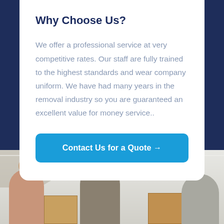Why Choose Us?
We offer a professional service at very competitive rates. Our staff are fully trained to the highest standards and wear company uniform. We have had many years in the removal industry so you are guaranteed an excellent value for money service..
Contact Us for a Quote →
[Figure (photo): Photo of movers/removal workers carrying boxes in a bright interior with a staircase visible]